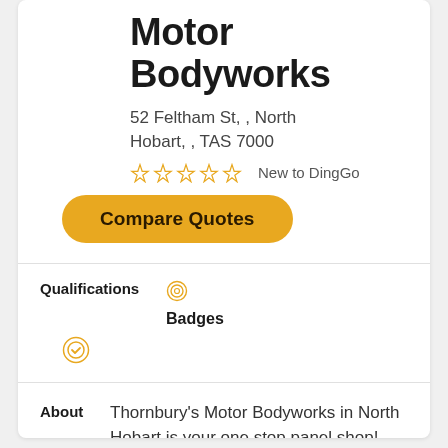Motor Bodyworks
52 Feltham St, , North Hobart, , TAS 7000
New to DingGo
Compare Quotes
Qualifications
Badges
About
Thornbury's Motor Bodyworks in North Hobart is your one stop panel shop!
See More..